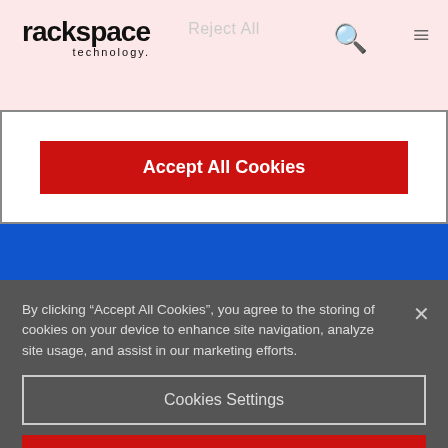[Figure (logo): Rackspace Technology logo in top-left of navigation bar]
Reject All
Accept All Cookies
By clicking “Accept All Cookies”, you agree to the storing of cookies on your device to enhance site navigation, analyze site usage, and assist in our marketing efforts.
Cookies Settings
Reject All
Accept All Cookies